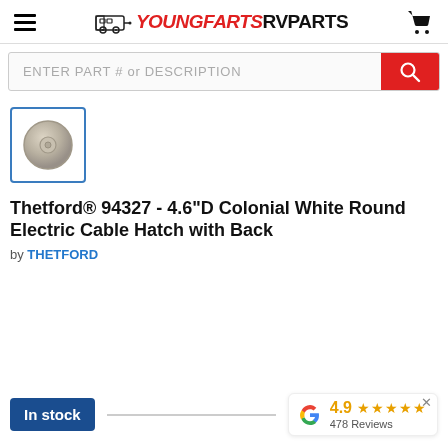YOUNGFARTS RVPARTS
ENTER PART # or DESCRIPTION
[Figure (photo): Thumbnail image of Thetford 94327 Colonial White Round Electric Cable Hatch - a round white plastic cap/button part]
Thetford® 94327 - 4.6"D Colonial White Round Electric Cable Hatch with Back
by THETFORD
In stock
4.9 ★★★★★ 478 Reviews